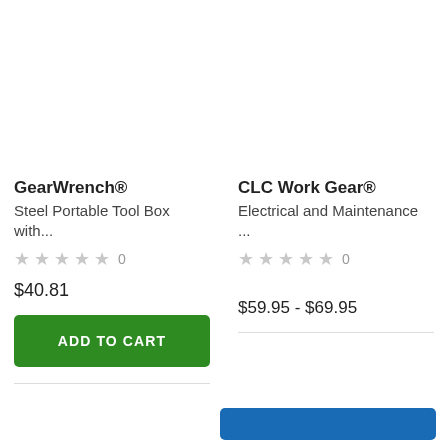GearWrench®
Steel Portable Tool Box with...
★★★★★ 0
$40.81
ADD TO CART
CLC Work Gear®
Electrical and Maintenance ...
★★★★★ 0
$59.95 - $69.95